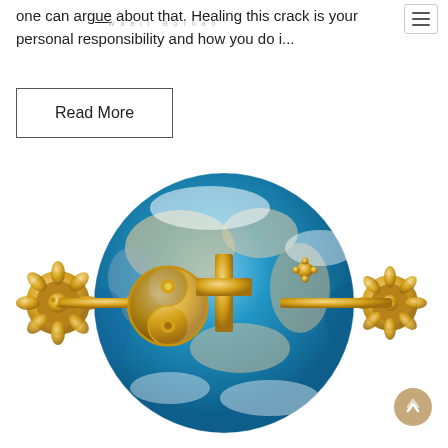one can argue about that. Healing this crack is your personal responsibility and how you do i...
Waeil Borhan
Read More
[Figure (photo): A decorative globe bead showing Earth in blue with gold religious symbols including a yin-yang, Christian cross, crescent moon, and lotus flower ornaments on the sides.]